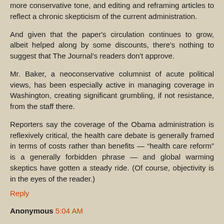more conservative tone, and editing and reframing articles to reflect a chronic skepticism of the current administration.
And given that the paper's circulation continues to grow, albeit helped along by some discounts, there's nothing to suggest that The Journal's readers don't approve.
Mr. Baker, a neoconservative columnist of acute political views, has been especially active in managing coverage in Washington, creating significant grumbling, if not resistance, from the staff there.
Reporters say the coverage of the Obama administration is reflexively critical, the health care debate is generally framed in terms of costs rather than benefits — “health care reform” is a generally forbidden phrase — and global warming skeptics have gotten a steady ride. (Of course, objectivity is in the eyes of the reader.)
Reply
Anonymous 5:04 AM